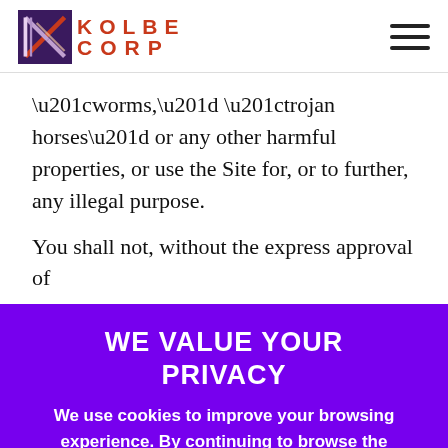[Figure (logo): Kolbe Corp logo with a stylized K icon in purple/maroon and red KOLBE CORP text]
“worms,” “trojan horses” or any other harmful properties, or use the Site for, or to further, any illegal purpose.
You shall not, without the express approval of
WE VALUE YOUR PRIVACY
We use cookies to improve your browsing experience. By continuing to browse the website you are accepting our privacy policy.
I CONSENT